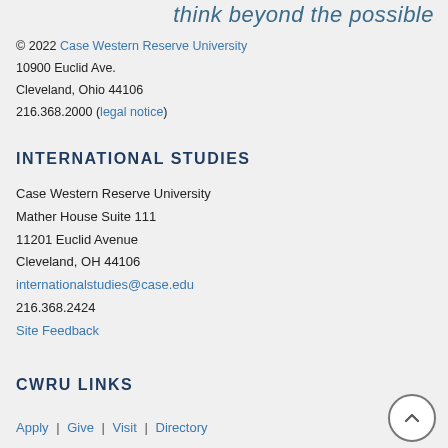think beyond the possible
© 2022 Case Western Reserve University
10900 Euclid Ave.
Cleveland, Ohio 44106
216.368.2000 (legal notice)
INTERNATIONAL STUDIES
Case Western Reserve University
Mather House Suite 111
11201 Euclid Avenue
Cleveland, OH 44106
internationalstudies@case.edu
216.368.2424
Site Feedback
CWRU LINKS
Apply | Give | Visit | Directory